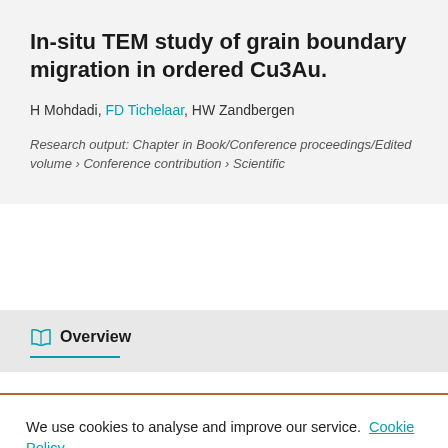In-situ TEM study of grain boundary migration in ordered Cu3Au.
H Mohdadi, FD Tichelaar, HW Zandbergen
Research output: Chapter in Book/Conference proceedings/Edited volume › Conference contribution › Scientific
Overview
We use cookies to analyse and improve our service. Cookie Policy